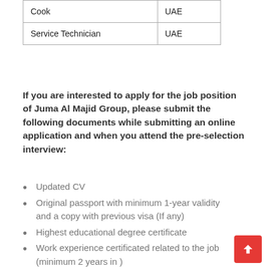|  |  |
| --- | --- |
| Cook | UAE |
| Service Technician | UAE |
If you are interested to apply for the job position of Juma Al Majid Group, please submit the following documents while submitting an online application and when you attend the pre-selection interview:
Updated CV
Original passport with minimum 1-year validity and a copy with previous visa (If any)
Highest educational degree certificate
Work experience certificated related to the job (minimum 2 years in )
Recently taken passport size a full-size color